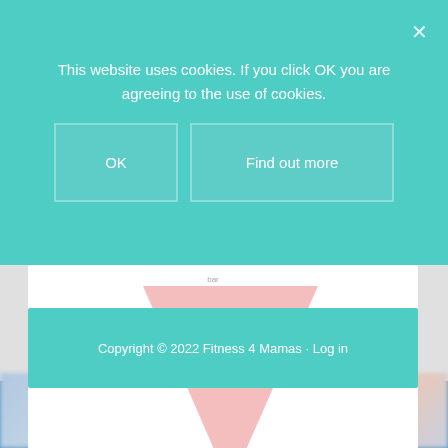This website uses cookies. If you click OK you are agreeing to the use of cookies.
OK
Find out more
[Figure (illustration): A pink downward-pointing triangle/chevron shape on a white background inside a content card]
Copyright © 2022 Fitness 4 Mamas · Log in